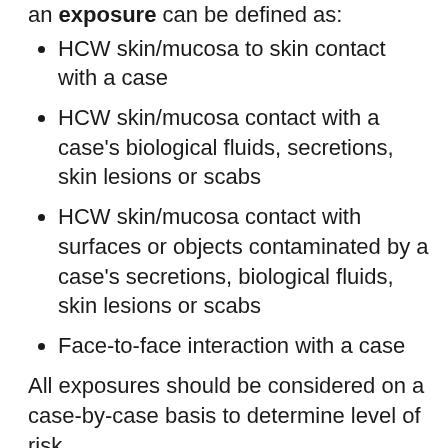an exposure can be defined as:
HCW skin/mucosa to skin contact with a case
HCW skin/mucosa contact with a case's biological fluids, secretions, skin lesions or scabs
HCW skin/mucosa contact with surfaces or objects contaminated by a case's secretions, biological fluids, skin lesions or scabs
Face-to-face interaction with a case
All exposures should be considered on a case-by-case basis to determine level of risk.